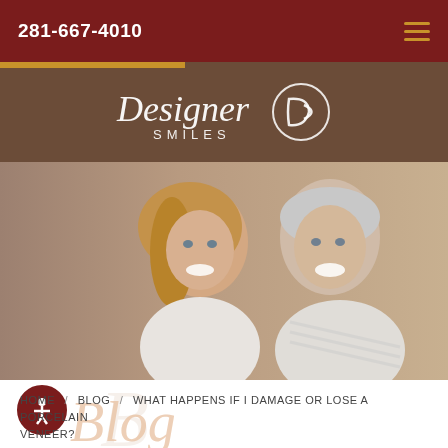281-667-4010
[Figure (logo): Designer Smiles logo with stylized D icon on brown background]
[Figure (photo): Smiling middle-aged couple, woman with blonde hair and man with grey hair, both wearing white/light casual clothing]
HOME / BLOG / WHAT HAPPENS IF I DAMAGE OR LOSE A PORCELAIN VENEER?
[Figure (illustration): Accessibility icon (person in circle) and large italic 'Blog' watermark text with DS logo watermark]